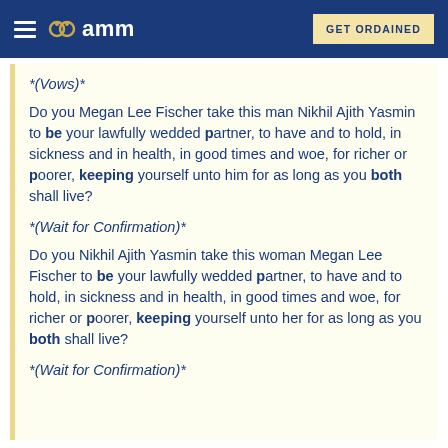amm | GET ORDAINED
*(Vows)*
Do you Megan Lee Fischer take this man Nikhil Ajith Yasmin to be your lawfully wedded partner, to have and to hold, in sickness and in health, in good times and woe, for richer or poorer, keeping yourself unto him for as long as you both shall live?
*(Wait for Confirmation)*
Do you Nikhil Ajith Yasmin take this woman Megan Lee Fischer to be your lawfully wedded partner, to have and to hold, in sickness and in health, in good times and woe, for richer or poorer, keeping yourself unto her for as long as you both shall live?
*(Wait for Confirmation)*